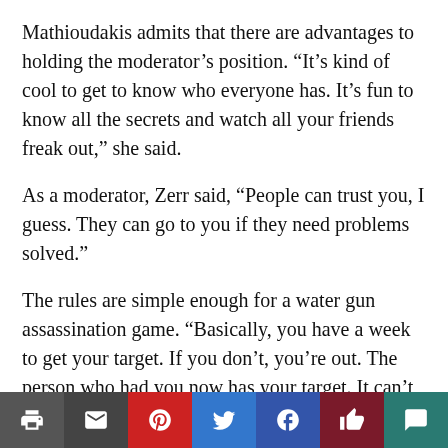Mathioudakis admits that there are advantages to holding the moderator's position. “It’s kind of cool to get to know who everyone has. It’s fun to know all the secrets and watch all your friends freak out,” she said.
As a moderator, Zerr said, “People can trust you, I guess. They can go to you if they need problems solved.”
The rules are simple enough for a water gun assassination game. “Basically, you have a week to get your target. If you don’t, you’re out. The person who had you now has your target. It can’t happen in school, you can’t go in someone’s house without permission, people have a ten minute cushion before and after school and before and after Cathedral practices,” said Mathioudakis.
[Figure (other): Social sharing toolbar with icons for print, email, Pinterest, Twitter, Facebook, like, and comment]